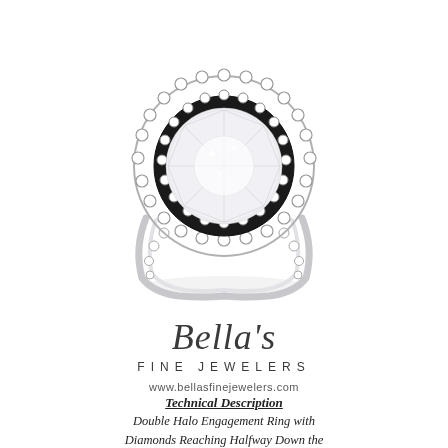[Figure (photo): Double halo diamond engagement ring with round brilliant center stone, two halos of pavé diamonds, and diamonds set halfway down the shank on both sides. White gold or platinum setting on white background.]
Bella's
Fine Jewelers
www.bellasfinejewelers.com
Technical Description
Double Halo Engagement Ring with Diamonds Reaching Halfway Down the Shank, All Common Prong Diamonds, for